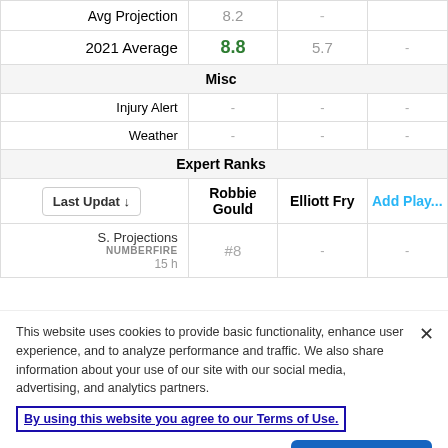|  | Robbie Gould | Elliott Fry | Add Play... |
| --- | --- | --- | --- |
| Avg Projection | 8.2 | - | - |
| 2021 Average | 8.8 | 5.7 | - |
| Misc |  |  |  |
| Injury Alert | - | - | - |
| Weather | - | - | - |
| Expert Ranks |  |  |  |
| Last Updat ▾ | Robbie Gould | Elliott Fry | Add Play... |
| S. Projections NUMBERFIRE 15 h | #8 | - | - |
This website uses cookies to provide basic functionality, enhance user experience, and to analyze performance and traffic. We also share information about your use of our site with our social media, advertising, and analytics partners.
By using this website you agree to our Terms of Use.
Do Not Sell My Personal Information
Accept Cookies